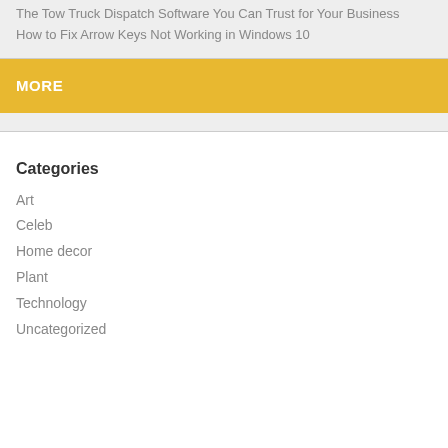The Tow Truck Dispatch Software You Can Trust for Your Business
How to Fix Arrow Keys Not Working in Windows 10
MORE
Categories
Art
Celeb
Home decor
Plant
Technology
Uncategorized